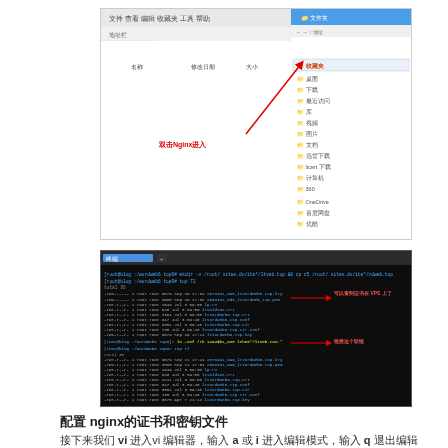[Figure (screenshot): Windows file explorer/browser screenshot showing folder navigation with a red arrow annotation pointing to a folder, with Chinese label text reading 双击Nginx进入]
[Figure (screenshot): Linux terminal (black background) showing command output with ls -la file listing, green filenames including ltvardweb.tsp files, and red arrow annotations with Chinese text reading 可以看到证书在 VPS 上了 and 链接这个软链]
配置 nginx的证书和密钥文件
接下来我们 vi 进入vi 编辑器，输入 a 或 i 进入编辑模式，输入 q 退出编辑器，:wq 保存并退出编辑器